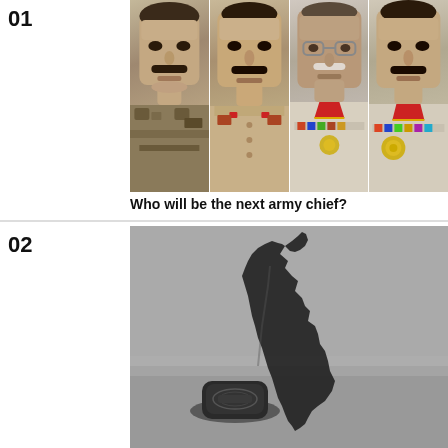01
[Figure (photo): Composite photo of four Pakistani military generals in uniform, side by side]
Who will be the next army chief?
02
[Figure (photo): Black and white photo of a decorative stamp or seal casting a shadow in the shape of Pakistan's map on a surface]